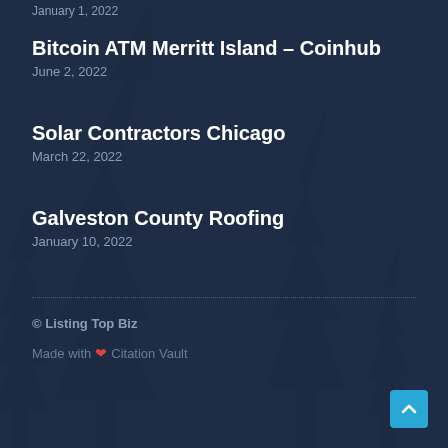January 1, 2022
Bitcoin ATM Merritt Island – Coinhub
June 2, 2022
Solar Contractors Chicago
March 22, 2022
Galveston County Roofing
January 10, 2022
© Listing Top Biz
Made with ❤ Citation Vault